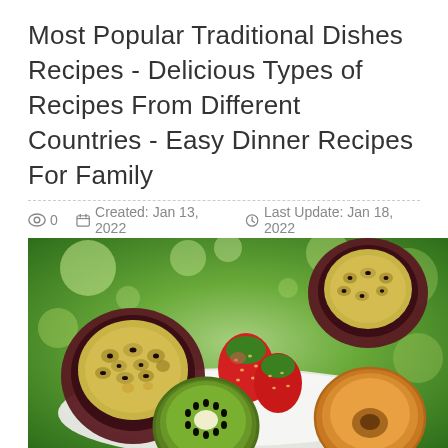Most Popular Traditional Dishes Recipes - Delicious Types of Recipes From Different Countries - Easy Dinner Recipes For Family
0   Created: Jan 13, 2022   Last Update: Jan 18, 2022
[Figure (photo): A white plate with assorted tropical fruits including halved passion fruit showing yellow seeds, strawberries, halved kiwi, and halved golden fruit, set against a blurred green bokeh background.]